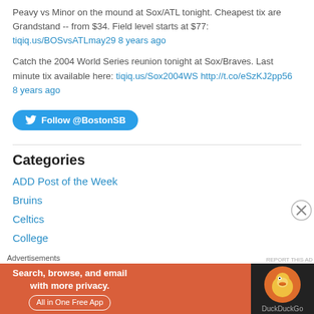Peavy vs Minor on the mound at Sox/ATL tonight. Cheapest tix are Grandstand -- from $34. Field level starts at $77: tiqiq.us/BOSvsATLmay29 8 years ago
Catch the 2004 World Series reunion tonight at Sox/Braves. Last minute tix available here: tiqiq.us/Sox2004WS http://t.co/eSzKJ2pp56 8 years ago
[Figure (other): Follow @BostonSB Twitter follow button]
Categories
ADD Post of the Week
Bruins
Celtics
College
[Figure (other): DuckDuckGo advertisement banner: Search, browse, and email with more privacy. All in One Free App]